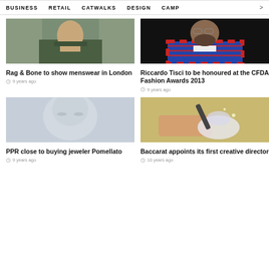BUSINESS   RETAIL   CATWALKS   DESIGN   CAMP >
[Figure (photo): Man in olive green shirt against stone background]
Rag & Bone to show menswear in London
9 years ago
[Figure (photo): Man with beard wearing plaid shirt against dark background]
Riccardo Tisci to be honoured at the CFDA Fashion Awards 2013
9 years ago
[Figure (photo): Close up blurry face of a person]
PPR close to buying jeweler Pomellato
9 years ago
[Figure (photo): Hands working with glass crystal object and tool]
Baccarat appoints its first creative director
10 years ago